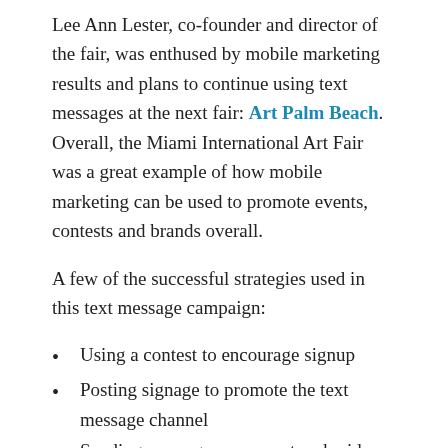Lee Ann Lester, co-founder and director of the fair, was enthused by mobile marketing results and plans to continue using text messages at the next fair: Art Palm Beach. Overall, the Miami International Art Fair was a great example of how mobile marketing can be used to promote events, contests and brands overall.
A few of the successful strategies used in this text message campaign:
Using a contest to encourage signup
Posting signage to promote the text message channel
Sending messages pre-event and mid-event without being excessive
Building a mobile marketing list of art lovers and buyers
Using the last text message of the event to